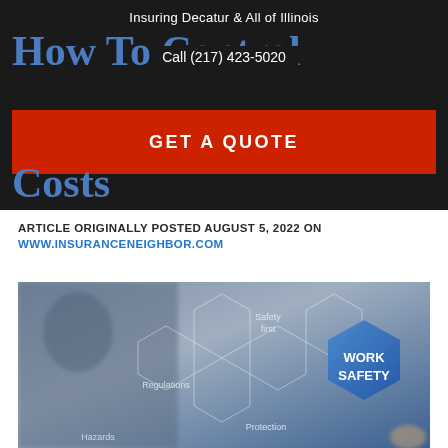Insuring Decatur & All of Illinois
Call (217) 423-5020
How To Control Workers' Compensation Costs
GET A QUOTE
ARTICLE ORIGINALLY POSTED AUGUST 5, 2022 ON WWW.INSURANCENEIGHBOR.COM
[Figure (photo): Work safety concept image showing a person touching hexagonal icons with text including 'WORK SAFETY', 'Safety first', 'Regulations', 'Hazards', 'Protection' on a blurred blue background]